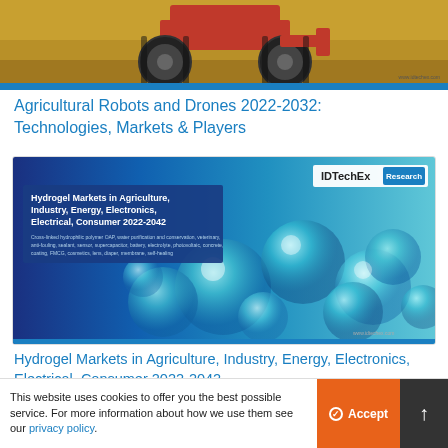[Figure (photo): Agricultural robot/tractor from behind in a wheat field, with a blue bar at the bottom and a small URL watermark]
Agricultural Robots and Drones 2022-2032: Technologies, Markets & Players
[Figure (photo): IDTechEx Research report cover for 'Hydrogel Markets in Agriculture, Industry, Energy, Electronics, Electrical, Consumer 2022-2042' showing blue/teal hydrogel beads with report title overlay]
Hydrogel Markets in Agriculture, Industry, Energy, Electronics, Electrical, Consumer 2022-2042
AGTECH PROGRESS TAGS
This website uses cookies to offer you the best possible service. For more information about how we use them see our privacy policy.